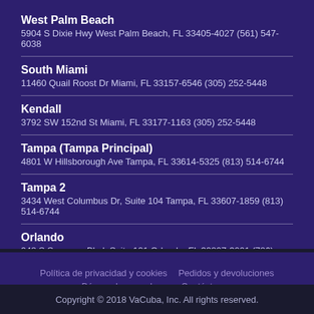West Palm Beach
5904 S Dixie Hwy West Palm Beach, FL 33405-4027 (561) 547-6038
South Miami
11460 Quail Roost Dr Miami, FL 33157-6546 (305) 252-5448
Kendall
3792 SW 152nd St Miami, FL 33177-1163 (305) 252-5448
Tampa (Tampa Principal)
4801 W Hillsborough Ave Tampa, FL 33614-5325 (813) 514-6744
Tampa 2
3434 West Columbus Dr, Suite 104 Tampa, FL 33607-1859 (813) 514-6744
Orlando
948 S Semoran Blvd, Suite 101 Orlando, FL 32807-3001 (786) 476-3276
Política de privacidad y cookies   Pedidos y devoluciones   Búsquedas populares   Contáctanos
Copyright © 2018 VaCuba, Inc. All rights reserved.